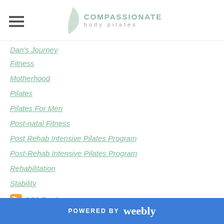Compassionate Body Pilates
Dan's Journey
Fitness
Motherhood
Pilates
Pilates For Men
Post-natal Fitness
Post Rehab Intensive Pilates Program
Post-Rehab Intensive Pilates Program
Rehabilitation
Stability
RSS Feed
POWERED BY weebly